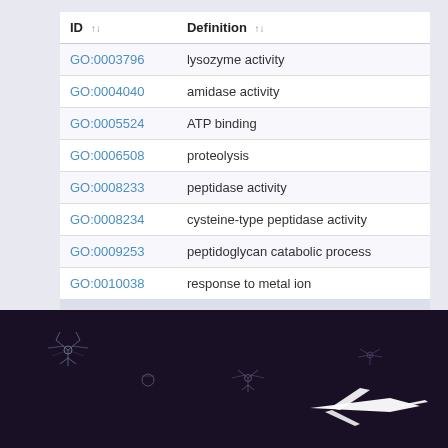| ID | Definition |
| --- | --- |
| GO:0003796 | lysozyme activity |
| GO:0004040 | amidase activity |
| GO:0005524 | ATP binding |
| GO:0006508 | proteolysis |
| GO:0008233 | peptidase activity |
| GO:0008234 | cysteine-type peptidase activity |
| GO:0009253 | peptidoglycan catabolic process |
| GO:0010038 | response to metal ion |
Loading in process
[Figure (illustration): Dark purple/black background with scattered glowing white/blue outline illustrations of insects (mosquitoes or similar flying insects) and a white silhouette of an airplane or bird shape]